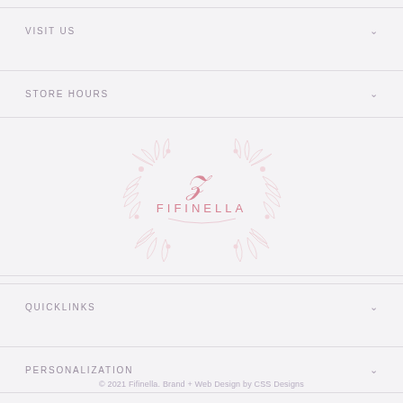VISIT US
STORE HOURS
[Figure (logo): Fifinella brand logo — decorative floral crest in light pink with cursive F monogram and FIFINELLA text]
QUICKLINKS
PERSONALIZATION
© 2021 Fifinella. Brand + Web Design by CSS Designs